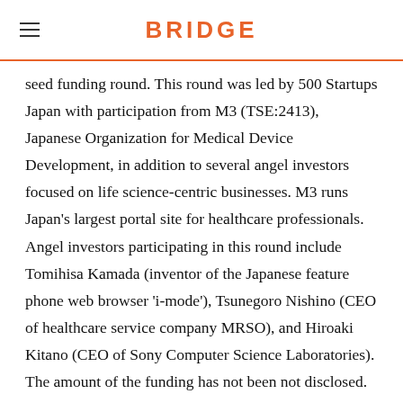BRIDGE
seed funding round. This round was led by 500 Startups Japan with participation from M3 (TSE:2413), Japanese Organization for Medical Device Development, in addition to several angel investors focused on life science-centric businesses. M3 runs Japan's largest portal site for healthcare professionals. Angel investors participating in this round include Tomihisa Kamada (inventor of the Japanese feature phone web browser 'i-mode'), Tsunegoro Nishino (CEO of healthcare service company MRSO), and Hiroaki Kitano (CEO of Sony Computer Science Laboratories). The amount of the funding has not been not disclosed. Awakens will use the funds to accelerate the development of Genome Link, the company's software for developing integrated services on